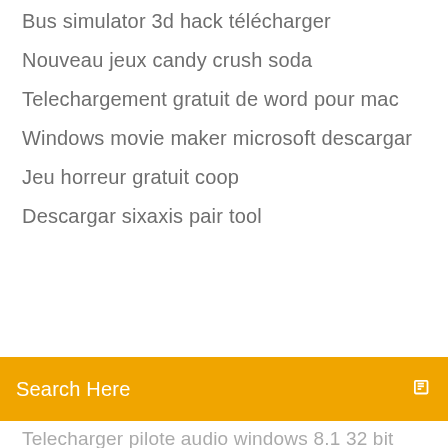Bus simulator 3d hack télécharger
Nouveau jeux candy crush soda
Telechargement gratuit de word pour mac
Windows movie maker microsoft descargar
Jeu horreur gratuit coop
Descargar sixaxis pair tool
Search Here
Telecharger pilote audio windows 8.1 32 bit
Comment installer the escapist minecraft
Enregistreur vocal windows 8.1
Télécharger gta chinatown setup for pc
Telecharger flash player gratuit windows 7 64 bits
Mettre a jour directx 11 windows 10
Application de dessin sur photo
Decrypter mot de passe wordpress
Application youtube music windows 10
Google earth maps street view online
Comment retourner une video youtube